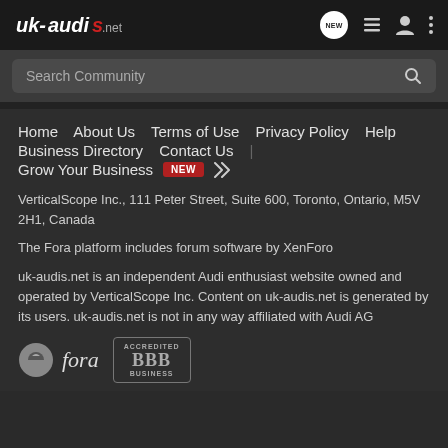uk-audis.net logo and navigation icons
Search Community
Home
About Us
Terms of Use
Privacy Policy
Help
Business Directory
Contact Us
Grow Your Business NEW
VerticalScope Inc., 111 Peter Street, Suite 600, Toronto, Ontario, M5V 2H1, Canada
The Fora platform includes forum software by XenForo
uk-audis.net is an independent Audi enthusiast website owned and operated by VerticalScope Inc. Content on uk-audis.net is generated by its users. uk-audis.net is not in any way affiliated with Audi AG
[Figure (logo): Fora logo with circle icon and italic fora text, and BBB Accredited Business badge]